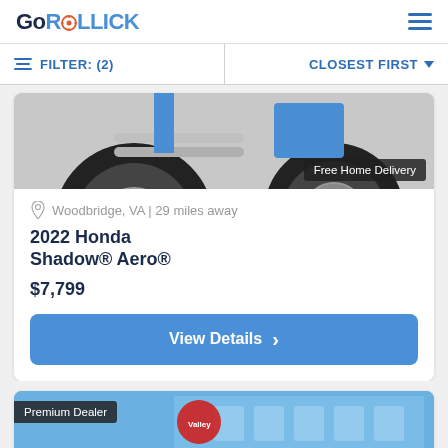GoROLLICK
FILTER: (2)   CLOSEST FIRST
[Figure (photo): Partial view of a blue and black Honda motorcycle from below/side, showing tires, chrome exhaust, and wheel. 'Free Home Delivery' badge overlaid in bottom right.]
Woodbridge, VA | 29 miles away
2022 Honda Shadow® Aero®
$7,799
View Details
[Figure (photo): Partial view of a second listing showing a blue building exterior with Valley logo/sign. 'Premium Dealer' badge overlaid in top left.]